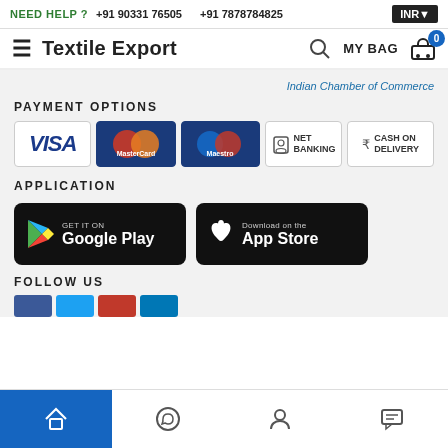NEED HELP ? +91 90331 76505   +91 7878784825   INR
Textile Export   MY BAG 0
Indian Chamber of Commerce
PAYMENT OPTIONS
[Figure (infographic): Payment method logos: VISA, MasterCard, Maestro, NET BANKING, CASH ON DELIVERY]
APPLICATION
[Figure (infographic): GET IT ON Google Play button]
[Figure (infographic): Download on the App Store button]
FOLLOW US
[Figure (infographic): Social media icons: Facebook, Twitter, YouTube, LinkedIn (partially visible)]
Bottom navigation bar with Home, WhatsApp, Account, Chat icons